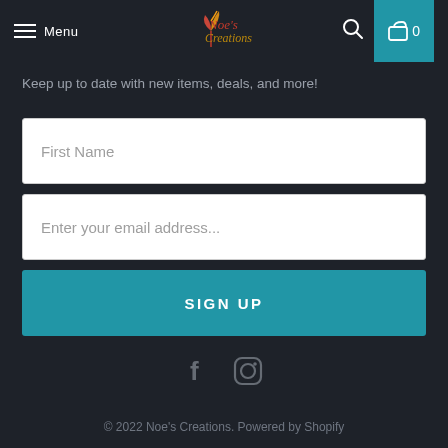Menu | Noe's Creations | Search | Cart 0
Keep up to date with new items, deals, and more!
[Figure (other): First Name input field (text input, white background)]
[Figure (other): Enter your email address... input field (text input, white background)]
[Figure (other): SIGN UP button (teal/dark cyan background, white uppercase text)]
[Figure (other): Social media icons: Facebook (f) and Instagram (camera) in grey]
© 2022 Noe's Creations. Powered by Shopify